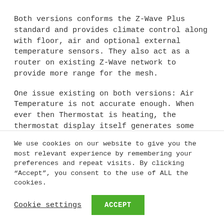Both versions conforms the Z-Wave Plus standard and provides climate control along with floor, air and optional external temperature sensors. They also act as a router on existing Z-Wave network to provide more range for the mesh.
One issue existing on both versions: Air Temperature is not accurate enough. When ever then Thermostat is heating, the thermostat display itself generates some heat and rises the air
We use cookies on our website to give you the most relevant experience by remembering your preferences and repeat visits. By clicking “Accept”, you consent to the use of ALL the cookies.
Cookie settings
ACCEPT